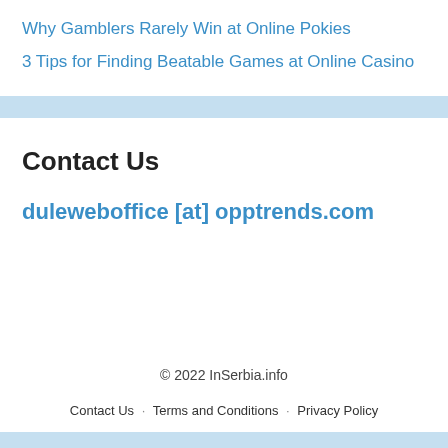Why Gamblers Rarely Win at Online Pokies
3 Tips for Finding Beatable Games at Online Casino
Contact Us
duleweboffice [at] opptrends.com
© 2022 InSerbia.info
Contact Us · Terms and Conditions · Privacy Policy